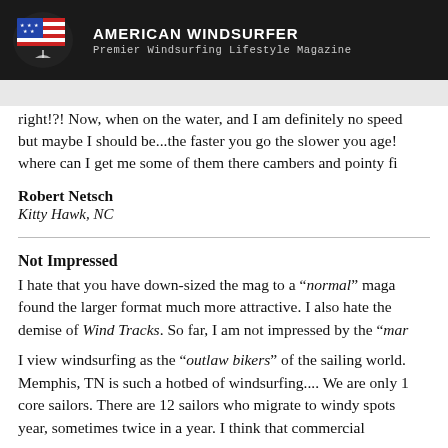AMERICAN WINDSURFER
Premier Windsurfing Lifestyle Magazine
right!?! Now, when on the water, and I am definitely no speed but maybe I should be...the faster you go the slower you age! where can I get me some of them there cambers and pointy fi
Robert Netsch
Kitty Hawk, NC
Not Impressed
I hate that you have down-sized the mag to a “normal” maga found the larger format much more attractive. I also hate the demise of Wind Tracks. So far, I am not impressed by the “mar
I view windsurfing as the “outlaw bikers” of the sailing world. Memphis, TN is such a hotbed of windsurfing.... We are only 1 core sailors. There are 12 sailors who migrate to windy spots year, sometimes twice in a year. I think that commercial